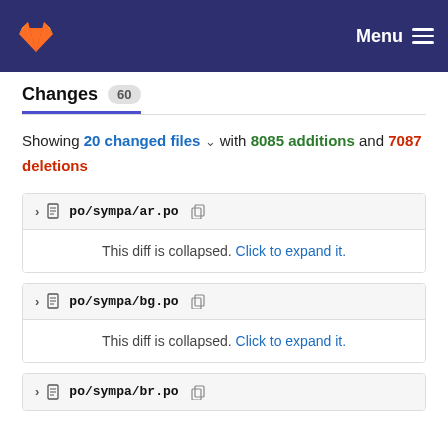Menu
Changes 60
Showing 20 changed files with 8085 additions and 7087 deletions
po/sympa/ar.po — This diff is collapsed. Click to expand it.
po/sympa/bg.po — This diff is collapsed. Click to expand it.
po/sympa/br.po